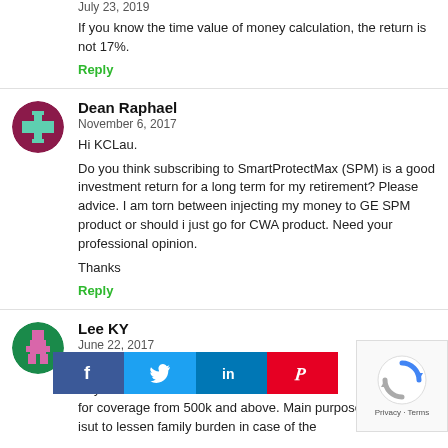July 23, 2019
If you know the time value of money calculation, the return is not 17%.
Reply
Dean Raphael
November 6, 2017
Hi KCLau.
Do you think subscribing to SmartProtectMax (SPM) is a good investment return for a long term for my retirement? Please advice. I am torn between injecting my money to GE SPM product or should i just go for CWA product. Need your professional opinion.
Thanks
Reply
Lee KY
June 22, 2017
Hi,
Any adv... illness? loo for coverage from 500k and above. Main purpose is isut to lessen family burden in case of the
[Figure (infographic): Social share bar with Facebook, Twitter, LinkedIn, and Pinterest buttons]
[Figure (other): Google reCAPTCHA widget with rotating arrows logo and Privacy-Terms text]